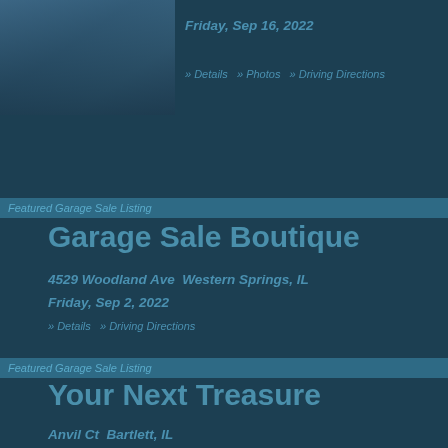[Figure (photo): Partial image of a garage sale or house exterior at the top-left corner of the page.]
Friday, Sep 16, 2022
» Details   » Photos   » Driving Directions
Featured Garage Sale Listing
Garage Sale Boutique
4529 Woodland Ave  Western Springs, IL
Friday, Sep 2, 2022
» Details   » Driving Directions
Featured Garage Sale Listing
Your Next Treasure
Anvil Ct  Bartlett, IL
Thursday, Sep 1, 2022
» Details   » Driving Directions
Featured Garage Sale Listing
Multi-Family Garage Sale And M…